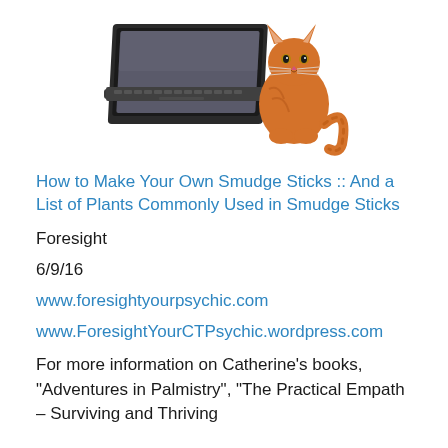[Figure (photo): A ginger/orange cat sitting next to a laptop computer, both on a white background. The cat is looking at or toward the laptop screen.]
How to Make Your Own Smudge Sticks :: And a List of Plants Commonly Used in Smudge Sticks
Foresight
6/9/16
www.foresightyourpsychic.com
www.ForesightYourCTPsychic.wordpress.com
For more information on Catherine’s books, “Adventures in Palmistry”, “The Practical Empath – Surviving and Thriving